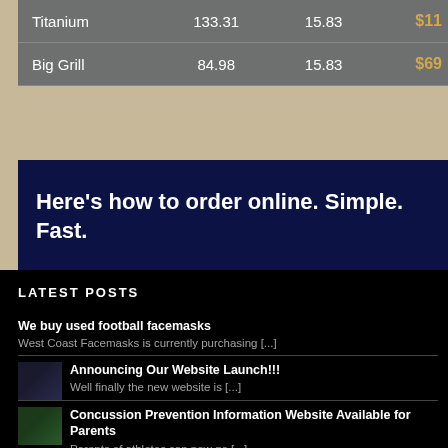|  |  |  |  |
| --- | --- | --- | --- |
| Titanium | 133.31 | 15.83 | $11... |
| Big Grill | 84.98 | 15.83 | $69... |
Here's how to order online. Simple. Fast.
LATEST POSTS
We buy used football facemasks — West Coast Facemasks is currently purchasing [...]
Announcing Our Website Launch!!! — Well finally the new website is [...]
Concussion Prevention Information Website Available for Parents — Parents of athletes can now go [...]